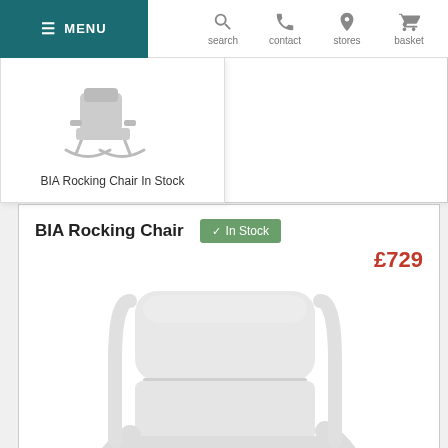≡ MENU | search | contact | stores | basket
[Figure (photo): Small thumbnail image of BIA Rocking Chair in gray/beige upholstery with wooden rocker base]
BIA Rocking Chair In Stock
BIA Rocking Chair
✓ In Stock
£729
[Figure (photo): Large close-up product photo of BIA Rocking Chair in light gray/white upholstery with white wooden frame, showing backrest and armrest detail]